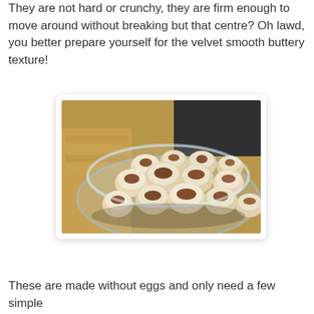They are not hard or crunchy, they are firm enough to move around without breaking but that centre? Oh lawd, you better prepare yourself for the velvet smooth buttery texture!
[Figure (photo): A glass bowl filled with small round cookies topped with pecan pieces and dusted with powdered sugar, placed on a wooden surface.]
These are made without eggs and only need a few simple